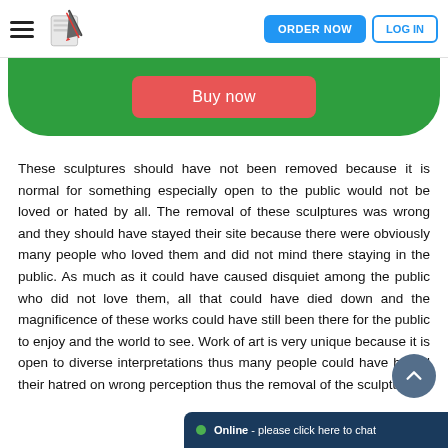ORDER NOW  LOG IN
[Figure (screenshot): Green rounded bottom bar with a red 'Buy now' button in the center]
These sculptures should have not been removed because it is normal for something especially open to the public would not be loved or hated by all. The removal of these sculptures was wrong and they should have stayed their site because there were obviously many people who loved them and did not mind there staying in the public. As much as it could have caused disquiet among the public who did not love them, all that could have died down and the magnificence of these works could have still been there for the public to enjoy and the world to see. Work of art is very unique because it is open to diverse interpretations thus many people could have based their hatred on wrong perception thus the removal of the sculptures.
[Figure (screenshot): Dark blue rounded chat widget at bottom right: green dot, 'Online - please click here to chat']